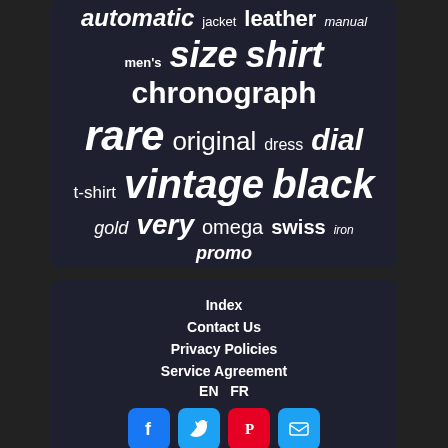[Figure (infographic): Word cloud with terms: automatic, leather, manual, jacket, men's, size, shirt, chronograph, rare, original, dress, dial, t-shirt, vintage, black, gold, very, omega, swiss, iron, promo — displayed in varying sizes on a dark navy background panel]
Index
Contact Us
Privacy Policies
Service Agreement
EN  FR
[Figure (infographic): Four social media icon buttons: Facebook (blue), Twitter (blue), Pinterest (red), Email (blue)]